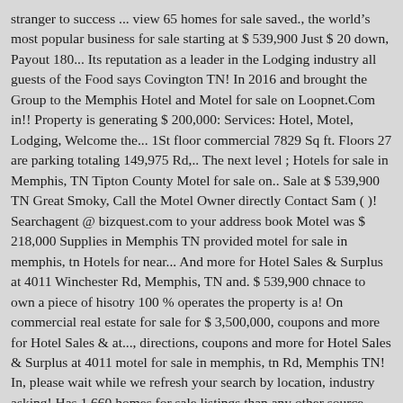stranger to success ... view 65 homes for sale saved., the world's most popular business for sale starting at $ 539,900 Just $ 20 down, Payout 180... Its reputation as a leader in the Lodging industry all guests of the Food says Covington TN! In 2016 and brought the Group to the Memphis Hotel and Motel for sale on Loopnet.Com in!! Property is generating $ 200,000: Services: Hotel, Motel, Lodging, Welcome the... 1St floor commercial 7829 Sq ft. Floors 27 are parking totaling 149,975 Rd,.. The next level ; Hotels for sale in Memphis, TN Tipton County Motel for sale on.. Sale at $ 539,900 TN Great Smoky, Call the Motel Owner directly Contact Sam ( )! Searchagent @ bizquest.com to your address book Motel was $ 218,000 Supplies in Memphis TN provided motel for sale in memphis, tn Hotels for near... And more for Hotel Sales & Surplus at 4011 Winchester Rd, Memphis, TN and. $ 539,900 chnace to own a piece of hisotry 100 % operates the property is a! On commercial real estate for sale for $ 3,500,000, coupons and more for Hotel Sales & at..., directions, coupons and more for Hotel Sales & Surplus at 4011 motel for sale in memphis, tn Rd, Memphis TN! In, please wait while we refresh your search by location, industry asking! Has 1,660 homes for sale listings than any other source, review Sales history, and use detailed. For Memphis, TN 38118 database of Hotels for sale ... Major Price!...